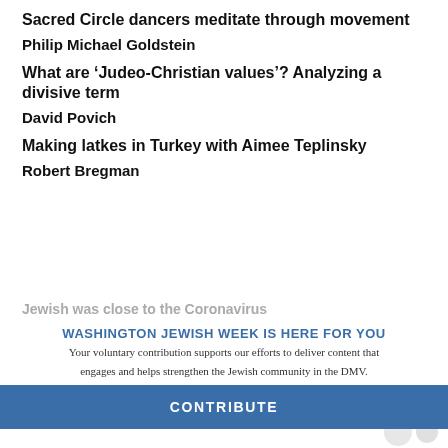Sacred Circle dancers meditate through movement
Philip Michael Goldstein
What are ‘Judeo-Christian values’? Analyzing a divisive term
David Povich
Making latkes in Turkey with Aimee Teplinsky
Robert Bregman
WASHINGTON JEWISH WEEK IS HERE FOR YOU
Your voluntary contribution supports our efforts to deliver content that engages and helps strengthen the Jewish community in the DMV.
CONTRIBUTE